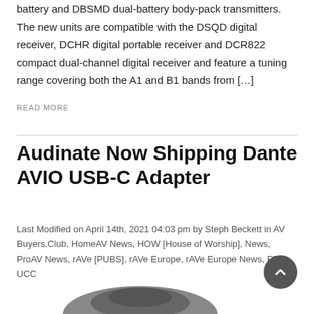battery and DBSMD dual-battery body-pack transmitters. The new units are compatible with the DSQD digital receiver, DCHR digital portable receiver and DCR822 compact dual-channel digital receiver and feature a tuning range covering both the A1 and B1 bands from […]
READ MORE
Audinate Now Shipping Dante AVIO USB-C Adapter
Last Modified on April 14th, 2021 04:03 pm by Steph Beckett in AV Buyers.Club, HomeAV News, HOW [House of Worship], News, ProAV News, rAVe [PUBS], rAVe Europe, rAVe Europe News, RTA, UCC
[Figure (photo): Product image of Dante AVIO USB-C Adapter partially visible at bottom of page]